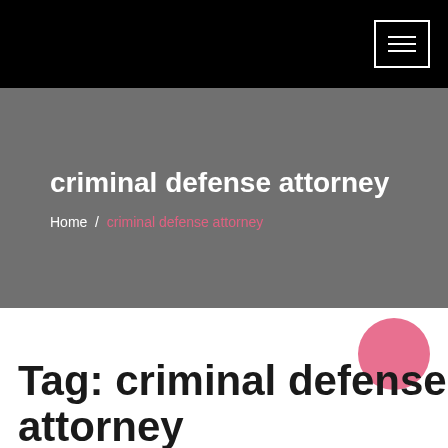Navigation bar with hamburger menu
criminal defense attorney
Home / criminal defense attorney
Tag: criminal defense attorney